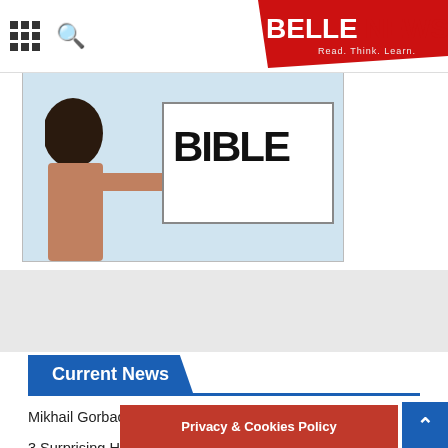BELLENEWS - Read. Think. Learn.
[Figure (photo): Person holding up a sign with bold letters, partially visible, against a light background. The word appears to be 'BIBLE' or similar large block text.]
Current News
Mikhail Gorbachev, Last Soviet Leader, Dies Aged 91
3 Surprising Health Benefits of Hunting
10 Things that Can Temporarily Shut Down Your Business
Different Ways To Achieve Your Investment Goals
Weight-loss Peptides of the Year
Privacy & Cookies Policy